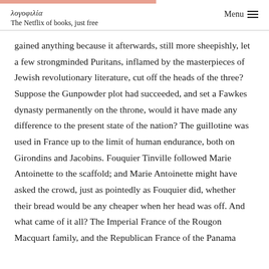λογοφιλία  The Netflix of books, just free  Menu
gained anything because it afterwards, still more sheepishly, let a few strongminded Puritans, inflamed by the masterpieces of Jewish revolutionary literature, cut off the heads of the three? Suppose the Gunpowder plot had succeeded, and set a Fawkes dynasty permanently on the throne, would it have made any difference to the present state of the nation? The guillotine was used in France up to the limit of human endurance, both on Girondins and Jacobins. Fouquier Tinville followed Marie Antoinette to the scaffold; and Marie Antoinette might have asked the crowd, just as pointedly as Fouquier did, whether their bread would be any cheaper when her head was off. And what came of it all? The Imperial France of the Rougon Macquart family, and the Republican France of the Panama